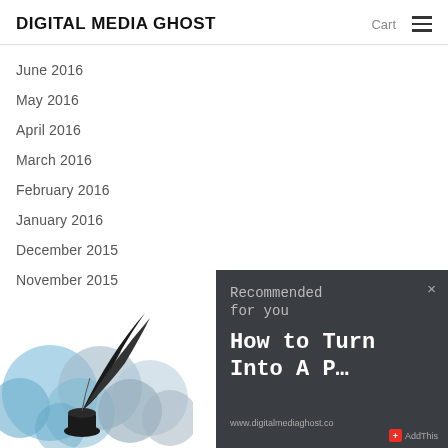DIGITAL MEDIA GHOST
June 2016
May 2016
April 2016
March 2016
February 2016
January 2016
December 2015
November 2015
[Figure (illustration): Digital Media Ghost logo: quill pen in inkwell with blue cloud/bubble shapes in background]
Recommended for you
How to Turn Into A P…
www.digitalmediaghost.co